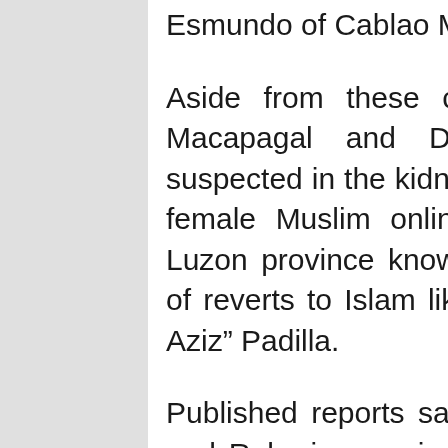Esmundo of Cablao Municipal Police Station
Aside from these cops, two civilians Franklin Macapagal and Dario Robarios were also suspected in the kidnap-slay of Nadia Casar, 35, a female Muslim online seller in Nueva Ecija, a Luzon province known with considerable number of reverts to Islam like action move Robin “Abdul Aziz” Padilla.
Published reports said Reyes, Malillin, Alcantara, and Robarios are in police custody, while Martin, Esmundo, and Macapagal remain at large. They have been charged in the Department of Justice, a PNP statement said...